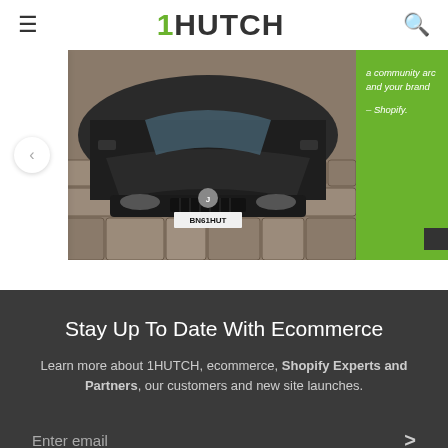1HUTCH
[Figure (photo): Partial view of a black sports car (Jaguar) with license plate BN61HUT parked on cobblestone pavement, shown in a carousel format with a partially visible white card on the left and a green card with Shopify quote on the right.]
Stay Up To Date With Ecommerce
Learn more about 1HUTCH, ecommerce, Shopify Experts and Partners, our customers and new site launches.
Enter email